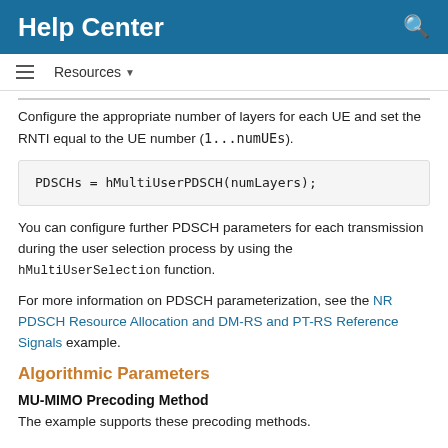Help Center
Resources ▼
Configure the appropriate number of layers for each UE and set the RNTI equal to the UE number (1...numUEs).
You can configure further PDSCH parameters for each transmission during the user selection process by using the hMultiUserSelection function.
For more information on PDSCH parameterization, see the NR PDSCH Resource Allocation and DM-RS and PT-RS Reference Signals example.
Algorithmic Parameters
MU-MIMO Precoding Method
The example supports these precoding methods.
'BD': Block Diagonalization
'ZF': Zero Forcing